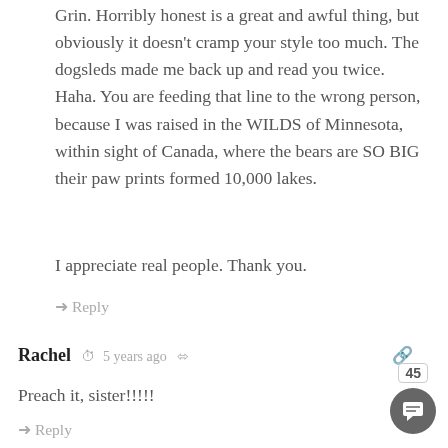Grin. Horribly honest is a great and awful thing, but obviously it doesn't cramp your style too much. The dogsleds made me back up and read you twice. Haha. You are feeding that line to the wrong person, because I was raised in the WILDS of Minnesota, within sight of Canada, where the bears are SO BIG their paw prints formed 10,000 lakes.
I appreciate real people. Thank you.
↳ Reply
Rachel  5 years ago
Preach it, sister!!!!!
↳ Reply
Joanna embry  5 years ago
All right. I'm shaken. I've been reading the other